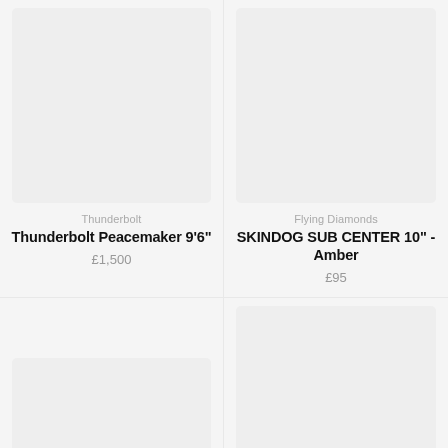[Figure (photo): Product image placeholder top-left (light grey rectangle)]
Thunderbolt
Thunderbolt Peacemaker 9'6"
£1,500
[Figure (photo): Product image placeholder top-right (light grey rectangle)]
Flying Diamonds
SKINDOG SUB CENTER 10" - Amber
£95
[Figure (photo): Product image placeholder bottom-left (light grey rectangle, partial)]
Slide 65
[Figure (photo): Product image placeholder bottom-right (light grey rectangle, partial)]
Koalition